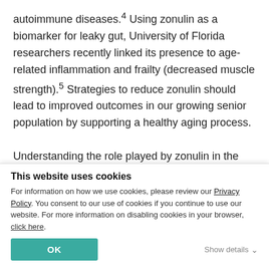autoimmune diseases.⁴ Using zonulin as a biomarker for leaky gut, University of Florida researchers recently linked its presence to age-related inflammation and frailty (decreased muscle strength).⁵ Strategies to reduce zonulin should lead to improved outcomes in our growing senior population by supporting a healthy aging process.
Understanding the role played by zonulin in the development of celiac disease also presents a treatment pathway, such as a drug to suppress the release of zonulin. For example, researchers at the Mayo Clinic report favorable in vitro
This website uses cookies
For information on how we use cookies, please review our Privacy Policy. You consent to our use of cookies if you continue to use our website. For more information on disabling cookies in your browser, click here.